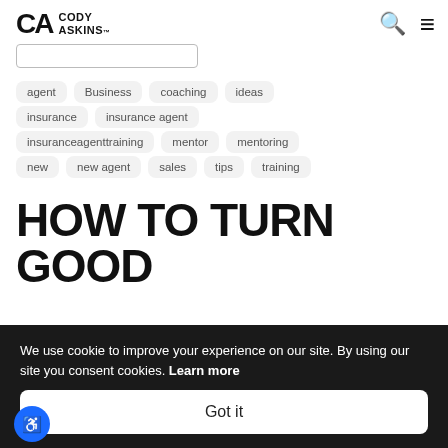CA CODY ASKINS
agent
Business
coaching
ideas
insurance
insurance agent
insuranceagenttraining
mentor
mentoring
new
new agent
sales
tips
training
HOW TO TURN GOOD
We use cookie to improve your experience on our site. By using our site you consent cookies. Learn more